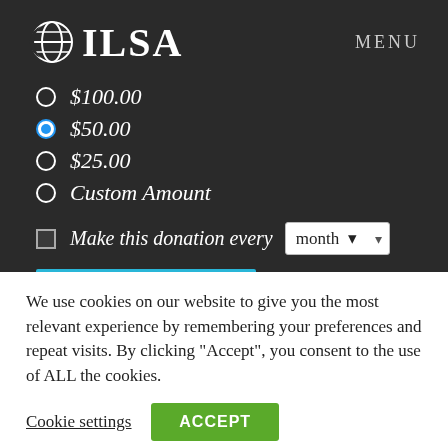[Figure (logo): ILSA globe logo with stylized globe icon and text ILSA in white serif font on dark background]
MENU
$100.00
$50.00
$25.00
Custom Amount
Make this donation every month
We use cookies on our website to give you the most relevant experience by remembering your preferences and repeat visits. By clicking “Accept”, you consent to the use of ALL the cookies.
Cookie settings
ACCEPT